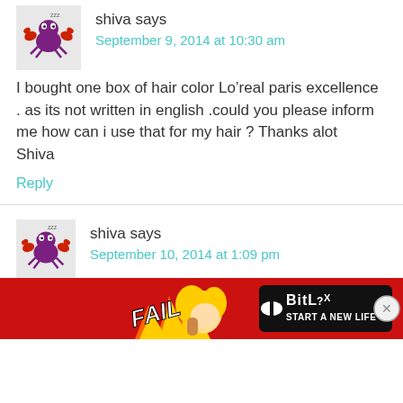shiva says
September 9, 2014 at 10:30 am
I bought one box of hair color Lo’real paris excellence . as its not written in english .could you please inform me how can i use that for my hair ? Thanks alot
Shiva
Reply
shiva says
September 10, 2014 at 1:09 pm
[Figure (screenshot): BitLife advertisement banner with FAIL text and cartoon character]
I b... exc... ou